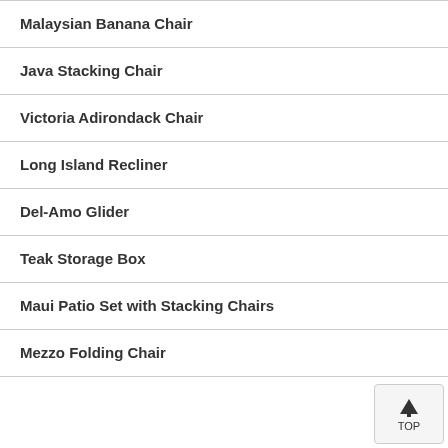Malaysian Banana Chair
Java Stacking Chair
Victoria Adirondack Chair
Long Island Recliner
Del-Amo Glider
Teak Storage Box
Maui Patio Set with Stacking Chairs
Mezzo Folding Chair